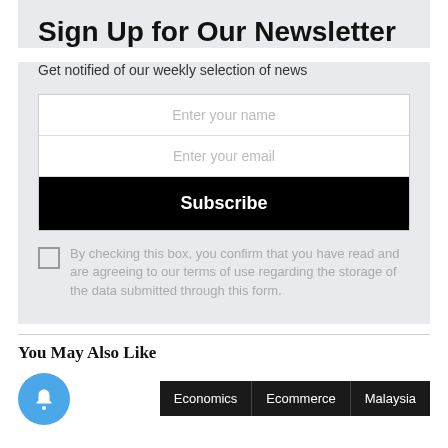Sign Up for Our Newsletter
Get notified of our weekly selection of news
Enter your name
Enter your email
Subscribe
By checking this box, you confirm that you have read and are agreeing to our terms of use regarding the storage of the data submitted through this form.
You May Also Like
Economics
Ecommerce
Malaysia